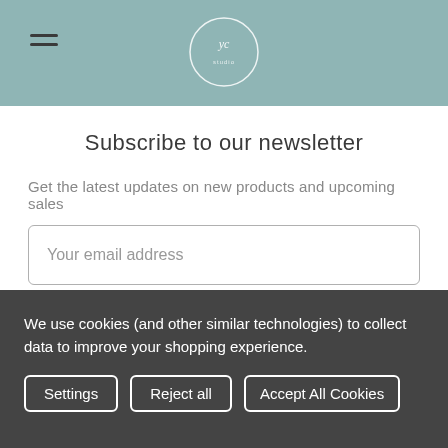[Figure (logo): Website header with teal/sage green background, hamburger menu icon on left, circular logo/emblem in center]
Subscribe to our newsletter
Get the latest updates on new products and upcoming sales
Your email address
Subscribe
We use cookies (and other similar technologies) to collect data to improve your shopping experience.
Settings
Reject all
Accept All Cookies